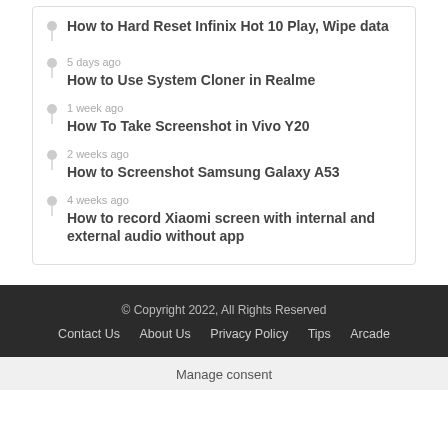How to Hard Reset Infinix Hot 10 Play, Wipe data
5 days ago
How to Use System Cloner in Realme
1 week ago
How To Take Screenshot in Vivo Y20
2 weeks ago
How to Screenshot Samsung Galaxy A53
4 weeks ago
How to record Xiaomi screen with internal and external audio without app
© Copyright 2022, All Rights Reserved
Contact Us   About Us   Privacy Policy   Tips   Arcade
Manage consent